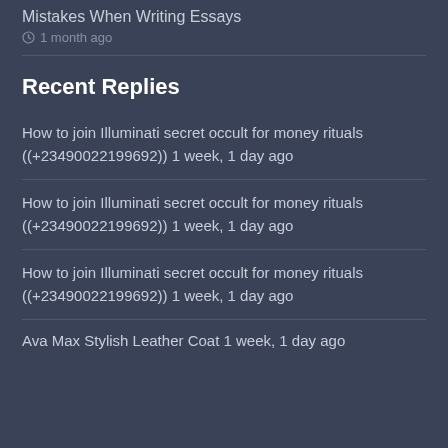Mistakes When Writing Essays
1 month ago
Recent Replies
How to join Illuminati secret occult for money rituals ((+23490022199692)) 1 week, 1 day ago
How to join Illuminati secret occult for money rituals ((+23490022199692)) 1 week, 1 day ago
How to join Illuminati secret occult for money rituals ((+23490022199692)) 1 week, 1 day ago
Ava Max Stylish Leather Coat 1 week, 1 day ago